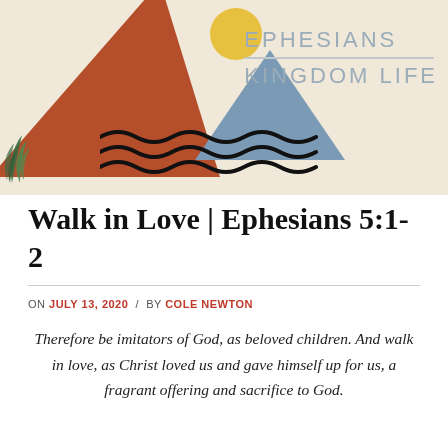[Figure (illustration): Decorative header illustration with beige background, large terracotta triangle, blue triangle, yellow sun circle, green leaves, and wavy black lines. Text overlay reads EPHESIANS / KINGDOM LIFE in light gray sans-serif.]
Walk in Love | Ephesians 5:1-2
ON JULY 13, 2020 / BY COLE NEWTON
Therefore be imitators of God, as beloved children. And walk in love, as Christ loved us and gave himself up for us, a fragrant offering and sacrifice to God.